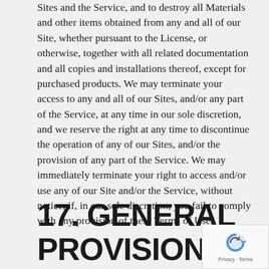Sites and the Service, and to destroy all Materials and other items obtained from any and all of our Site, whether pursuant to the License, or otherwise, together with all related documentation and all copies and installations thereof, except for purchased products. We may terminate your access to any and all of our Sites, and/or any part of the Service, at any time in our sole discretion, and we reserve the right at any time to discontinue the operation of any of our Sites, and/or the provision of any part of the Service. We may immediately terminate your right to access and/or use any of our Site and/or the Service, without notice, if, in our sole discretion, you fail to comply with any provision of these Terms of Use.
17. GENERAL PROVISIONS.